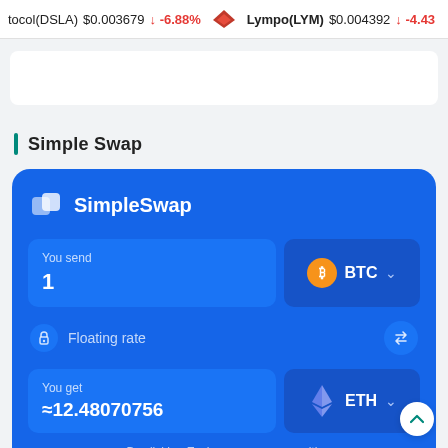tocol(DSLA) $0.003679 ↓ -6.88% Lympo(LYM) $0.004392 ↓ -4.43%
Simple Swap
[Figure (screenshot): SimpleSwap cryptocurrency exchange widget. Shows 'You send: 1 BTC' and 'You get: ≈12.48070756 ETH' with Floating rate option. Blue rounded card UI with BTC and ETH coin selectors.]
By clicking Exchange you agree with